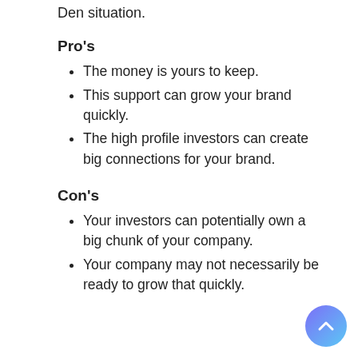Den situation.
Pro's
The money is yours to keep.
This support can grow your brand quickly.
The high profile investors can create big connections for your brand.
Con's
Your investors can potentially own a big chunk of your company.
Your company may not necessarily be ready to grow that quickly.